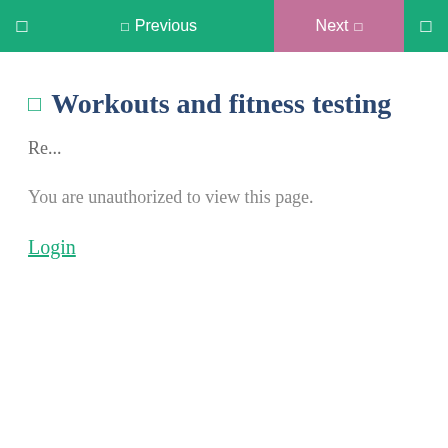Previous   Next
Workouts and fitness testing
Re...
You are unauthorized to view this page.
Login